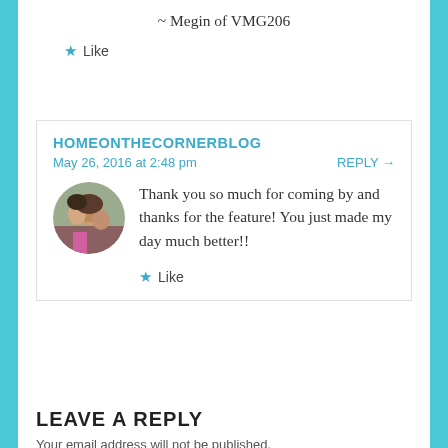~ Megin of VMG206
★ Like
HOMEONTHECORNERBLOG
May 26, 2016 at 2:48 pm
REPLY →
[Figure (photo): Circular avatar photo of two women]
Thank you so much for coming by and thanks for the feature! You just made my day much better!!
★ Like
LEAVE A REPLY
Your email address will not be published.